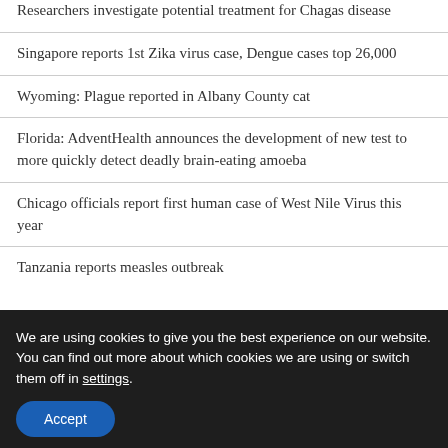Researchers investigate potential treatment for Chagas disease
Singapore reports 1st Zika virus case, Dengue cases top 26,000
Wyoming: Plague reported in Albany County cat
Florida: AdventHealth announces the development of new test to more quickly detect deadly brain-eating amoeba
Chicago officials report first human case of West Nile Virus this year
Tanzania reports measles outbreak
We are using cookies to give you the best experience on our website. You can find out more about which cookies we are using or switch them off in settings.